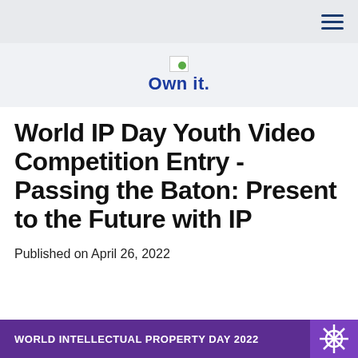Navigation bar with hamburger menu
[Figure (logo): Own it. logo with small image placeholder above the text]
World IP Day Youth Video Competition Entry - Passing the Baton: Present to the Future with IP
Published on April 26, 2022
[Figure (infographic): World Intellectual Property Day 2022 purple banner strip with logo]